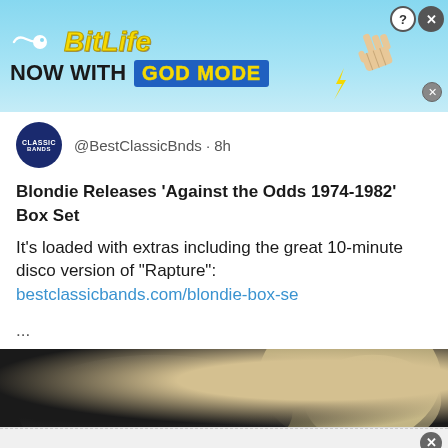[Figure (screenshot): BitLife advertisement banner: light blue background, BitLife logo with yellow text, 'NOW WITH GOD MODE' subtitle, pointing hand graphic, close button]
@BestClassicBnds · 8h
Blondie Releases 'Against the Odds 1974-1982' Box Set
It's loaded with extras including the great 10-minute disco version of "Rapture": bestclassicbands.com/blondie-box-se ...
[Figure (photo): Partial photo of blonde woman (Debbie Harry from Blondie) with dark background]
[Figure (screenshot): Bottom advertisement: Tips and Tricks - (Mature audience only) with Open button and two women in bikinis image]